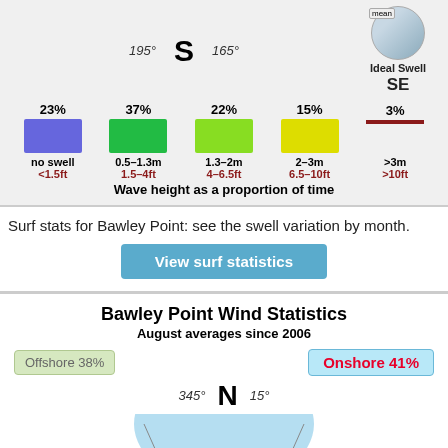[Figure (infographic): Compass/swell direction indicator showing S (south) with 195° and 165° angles, and an Ideal Swell SE circle indicator]
[Figure (bar-chart): Wave height as a proportion of time]
Surf stats for Bawley Point: see the swell variation by month.
View surf statistics
Bawley Point Wind Statistics
August averages since 2006
Offshore 38%
Onshore 41%
[Figure (infographic): Wind compass showing N direction with 345° and 15° angles, with a blue semicircle representing onshore wind distribution]